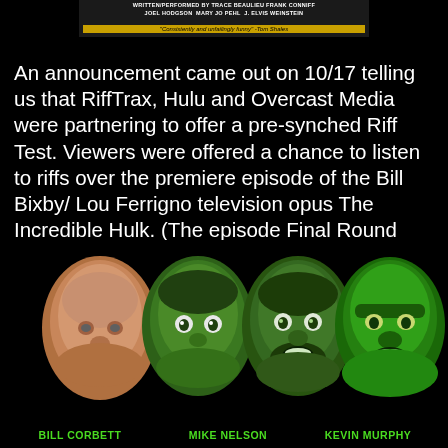WRITTEN/PERFORMED BY TRACE BEAULIEU FRANK CONNIFF JOEL HODGSON MARY JO PEHL J. ELVIS WEINSTEIN
"Consistently and unfailingly funny" -Tom Shales
An announcement came out on 10/17 telling us that RiffTrax, Hulu and Overcast Media were partnering to offer a pre-synched Riff Test. Viewers were offered a chance to listen to riffs over the premiere episode of the Bill Bixby/ Lou Ferrigno television opus The Incredible Hulk. (The episode Final Round premiered on NBC on 3-10-78.)
[Figure (photo): Composite photo of four faces (Bill Corbett, Mike Nelson, Kevin Murphy, and the Incredible Hulk) fading from normal skin tone on the left to green on the right, against a black background. Names labeled in green text at the bottom: BILL CORBETT, MIKE NELSON, KEVIN MURPHY.]